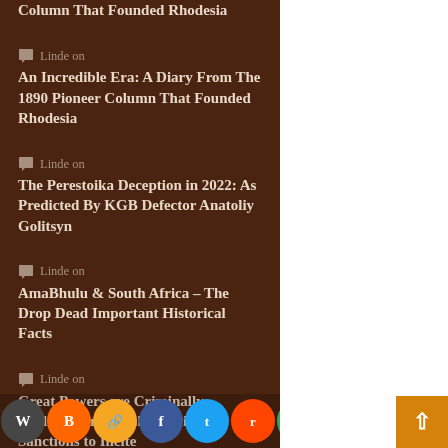Column That Founded Rhodesia (partial top)
Linde on An Incredible Era: A Diary From The 1890 Pioneer Column That Founded Rhodesia
Linde on The Perestoika Deception in 2022: As Predicted By KGB Defector Anatoliy Golitsyn
Linde on AmaBhulu & South Africa – The Drop Dead Important Historical Facts
Linde on Great Powers are Criminally Negligent or Grossly Stupid: Sanctions to Incite (partial bottom)
[Figure (infographic): Social media sharing icons bar at the bottom: WordPress, Blogger, Copy link, Facebook, Twitter, Reddit, Google, Telegram, Instagram, Pocket, Print, Share]